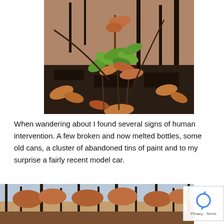[Figure (photo): A post-bushfire scene showing new green plant shoots growing from charred black ground, with dead brown leaves and burned tree trunks in the background.]
When wandering about I found several signs of human intervention. A few broken and now melted bottles, some old cans, a cluster of abandoned tins of paint and to my surprise a fairly recent model car.
[Figure (photo): A post-bushfire forest scene with burned trees and reddish-brown foliage.]